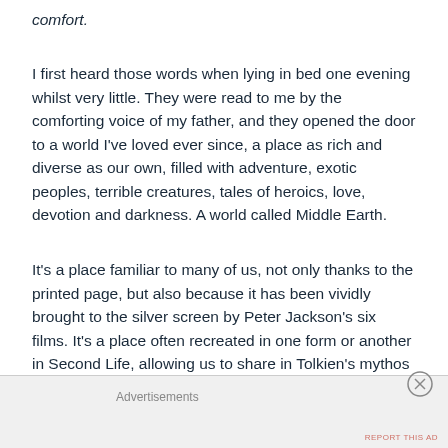comfort.
I first heard those words when lying in bed one evening whilst very little. They were read to me by the comforting voice of my father, and they opened the door to a world I've loved ever since, a place as rich and diverse as our own, filled with adventure, exotic peoples, terrible creatures, tales of heroics, love, devotion and darkness. A world called Middle Earth.
It's a place familiar to many of us, not only thanks to the printed page, but also because it has been vividly brought to the silver screen by Peter Jackson's six films. It's a place often recreated in one form or another in Second Life, allowing us to share in Tolkien's mythos
Advertisements